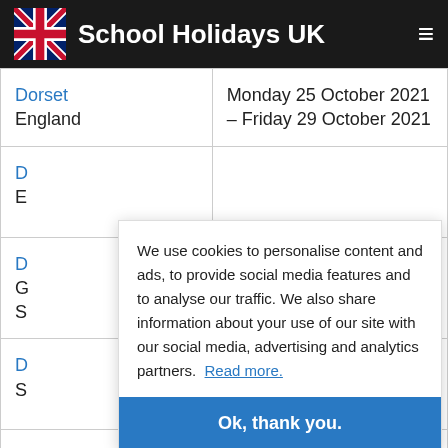School Holidays UK
| Region | Dates |
| --- | --- |
| Dorset England | Monday 25 October 2021 – Friday 29 October 2021 |
| D E |  |
| D G S |  |
| D S |  |
|  | Monday 25 October |
We use cookies to personalise content and ads, to provide social media features and to analyse our traffic. We also share information about your use of our site with our social media, advertising and analytics partners. Read more.
Ok, thank you.